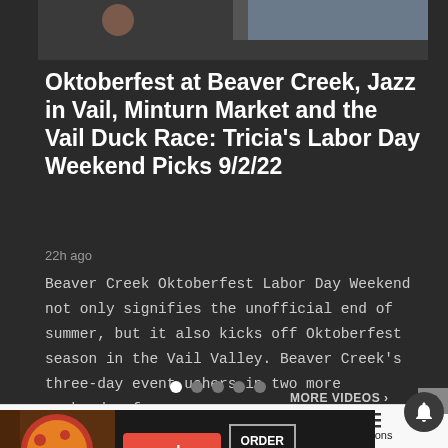[Figure (photo): Hero image partially visible at top, showing a person and outdoor scene]
Oktoberfest at Beaver Creek, Jazz in Vail, Minturn Market and the Vail Duck Race: Tricia's Labor Day Weekend Picks 9/2/22
22h ago
Beaver Creek Oktoberfest Labor Day Weekend not only signifies the unofficial end of summer, but it also kicks off Oktoberfest season in the Vail Valley. Beaver Creek's three-day event ushers in two more weekends of...
[Figure (infographic): Carousel dot navigation indicators — one white active dot followed by four grey dots]
[Figure (infographic): MORE VIDEOS label with arrow and notification bell button]
[Figure (photo): Seamless food delivery advertisement banner with pizza image, seamless red button, and ORDER NOW button]
Home   Trending   Sections